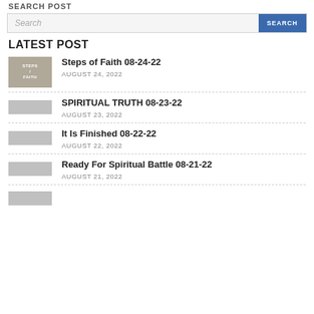SEARCH POST
Search
LATEST POST
Steps of Faith 08-24-22 | AUGUST 24, 2022
SPIRITUAL TRUTH 08-23-22 | AUGUST 23, 2022
It Is Finished 08-22-22 | AUGUST 22, 2022
Ready For Spiritual Battle 08-21-22 | AUGUST 21, 2022